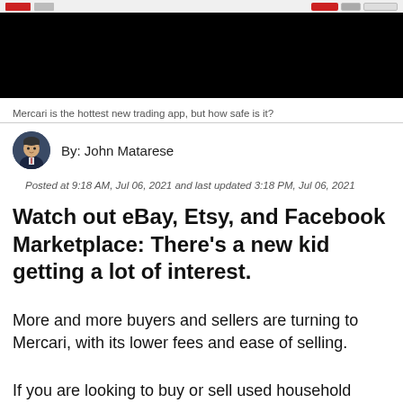[Figure (screenshot): Video player screenshot showing a dark/black video frame with a top navigation bar visible at the top edge]
Mercari is the hottest new trading app, but how safe is it?
By: John Matarese
Posted at 9:18 AM, Jul 06, 2021 and last updated 3:18 PM, Jul 06, 2021
Watch out eBay, Etsy, and Facebook Marketplace: There's a new kid getting a lot of interest.
More and more buyers and sellers are turning to Mercari, with its lower fees and ease of selling.
If you are looking to buy or sell used household items